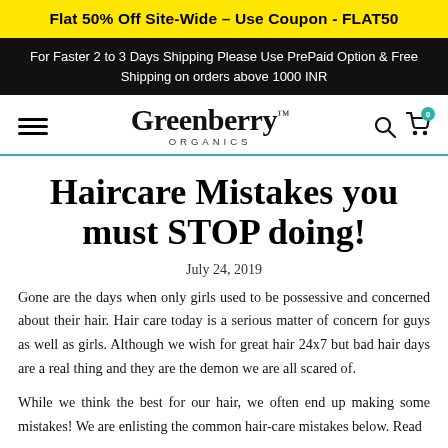Flat 50% Off Site-Wide – Use Coupon - FLAT50
For Faster 2 to 3 Days Shipping Please Use PrePaid Option & Free Shipping on orders above 1000 INR
Greenberry™ ORGANICS
Haircare Mistakes you must STOP doing!
July 24, 2019
Gone are the days when only girls used to be possessive and concerned about their hair. Hair care today is a serious matter of concern for guys as well as girls. Although we wish for great hair 24x7 but bad hair days are a real thing and they are the demon we are all scared of.
While we think the best for our hair, we often end up making some mistakes! We are enlisting the common hair-care mistakes below. Read